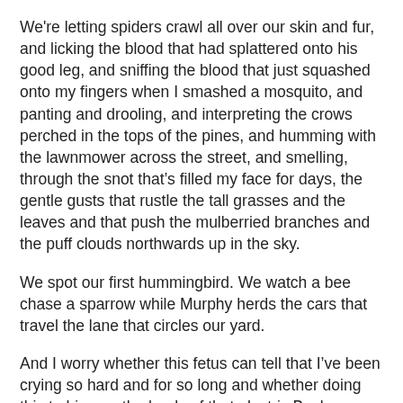We're letting spiders crawl all over our skin and fur, and licking the blood that had splattered onto his good leg, and sniffing the blood that just squashed onto my fingers when I smashed a mosquito, and panting and drooling, and interpreting the crows perched in the tops of the pines, and humming with the lawnmower across the street, and smelling, through the snot that's filled my face for days, the gentle gusts that rustle the tall grasses and the leaves and that push the mulberried branches and the puff clouds northwards up in the sky.
We spot our first hummingbird. We watch a bee chase a sparrow while Murphy herds the cars that travel the lane that circles our yard.
And I worry whether this fetus can tell that I've been crying so hard and for so long and whether doing this to him, on the heels of that electric Beck concert on Saturday night, is good parenting. He'll never get to grab a chubby little handful of Elroy's neck fur.
And I can't get the needle to jump past, “These are the wo-